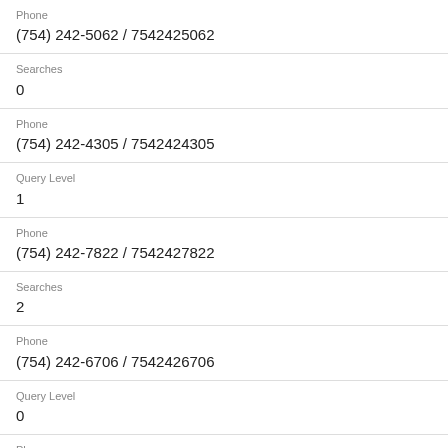Phone
(754) 242-5062 / 7542425062
Searches
0
Phone
(754) 242-4305 / 7542424305
Query Level
1
Phone
(754) 242-7822 / 7542427822
Searches
2
Phone
(754) 242-6706 / 7542426706
Query Level
0
Phone
(754) 242-8359 / 7542428359